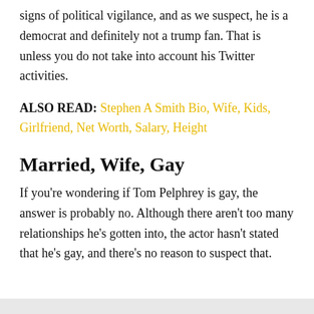signs of political vigilance, and as we suspect, he is a democrat and definitely not a trump fan. That is unless you do not take into account his Twitter activities.
ALSO READ: Stephen A Smith Bio, Wife, Kids, Girlfriend, Net Worth, Salary, Height
Married, Wife, Gay
If you're wondering if Tom Pelphrey is gay, the answer is probably no. Although there aren't too many relationships he's gotten into, the actor hasn't stated that he's gay, and there's no reason to suspect that.